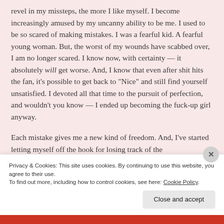revel in my missteps, the more I like myself. I become increasingly amused by my uncanny ability to be me. I used to be so scared of making mistakes. I was a fearful kid. A fearful young woman. But, the worst of my wounds have scabbed over, I am no longer scared. I know now, with certainty — it absolutely will get worse. And, I know that even after shit hits the fan, it's possible to get back to “Nice” and still find yourself unsatisfied. I devoted all that time to the pursuit of perfection, and wouldn’t you know — I ended up becoming the fuck-up girl anyway.
Each mistake gives me a new kind of freedom. And, I’ve started letting myself off the hook for losing track of the
Privacy & Cookies: This site uses cookies. By continuing to use this website, you agree to their use.
To find out more, including how to control cookies, see here: Cookie Policy